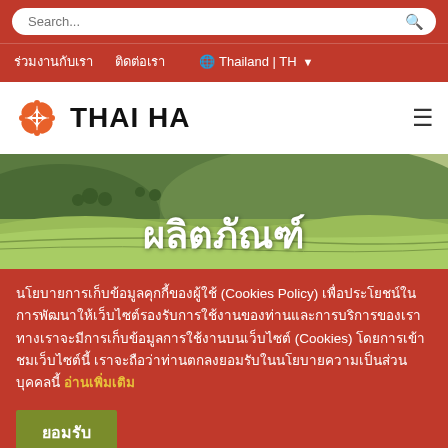Search...
ร่วมงานกับเรา  ติดต่อเรา  🌐 Thailand | TH
[Figure (logo): Thai Ha logo: orange four-petal flower icon with THAI HA text in bold black]
ผลิตภัณฑ์
นโยบายการเก็บข้อมูลคุกกี้ของผู้ใช้ (Cookies Policy) เพื่อประโยชน์ในการพัฒนาให้เว็บไซต์รองรับการใช้งานของท่านและการบริการของเรา ทางเราจะมีการเก็บข้อมูลการใช้งานบนเว็บไซต์ (Cookies) โดยการเข้าชมเว็บไซต์นี้ เราจะถือว่าท่านตกลงยอมรับในนโยบายความเป็นส่วนบุคคลนี้ อ่านเพิ่มเติม
ยอมรับ